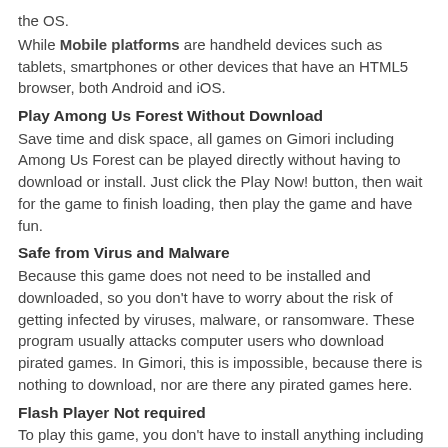the OS.
While Mobile platforms are handheld devices such as tablets, smartphones or other devices that have an HTML5 browser, both Android and iOS.
Play Among Us Forest Without Download
Save time and disk space, all games on Gimori including Among Us Forest can be played directly without having to download or install. Just click the Play Now! button, then wait for the game to finish loading, then play the game and have fun.
Safe from Virus and Malware
Because this game does not need to be installed and downloaded, so you don't have to worry about the risk of getting infected by viruses, malware, or ransomware. These program usually attacks computer users who download pirated games. In Gimori, this is impossible, because there is nothing to download, nor are there any pirated games here.
Flash Player Not required
To play this game, you don't have to install anything including the flash player.